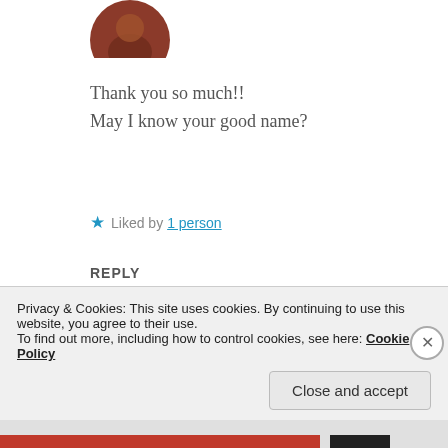[Figure (photo): Circular avatar of a person, partially visible at top]
Thank you so much!!
May I know your good name?
Liked by 1 person
REPLY
[Figure (photo): Circular avatar of a person with dark silhouette background]
POSTCARDFROMLIFELATELY
12 Apr 2019 at 10:14 pm
Privacy & Cookies: This site uses cookies. By continuing to use this website, you agree to their use.
To find out more, including how to control cookies, see here: Cookie Policy
Close and accept